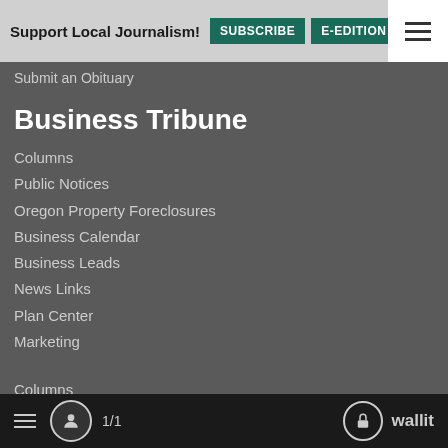Support Local Journalism! SUBSCRIBE  E-EDITION  NEWSLET…
Submit an Obituary
Business Tribune
Columns
Public Notices
Oregon Property Foreclosures
Business Calendar
Business Leads
News Links
Plan Center
Marketing
Columns
Public Notices
Oregon Property Foreclosures
Business Calendar
Business Leads
News Links
1/1   wallit